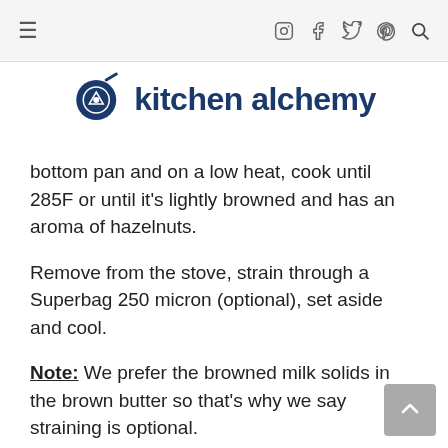≡  [icons: instagram, facebook, twitter, pinterest, search]
[Figure (logo): Kitchen Alchemy logo: a dark blue frying pan icon with an eye/triangle symbol inside a circle, followed by the text 'kitchen alchemy' in dark blue bold sans-serif font]
bottom pan and on a low heat, cook until 285F or until it's lightly browned and has an aroma of hazelnuts.
Remove from the stove, strain through a Superbag 250 micron (optional), set aside and cool.
Note: We prefer the browned milk solids in the brown butter so that's why we say straining is optional.